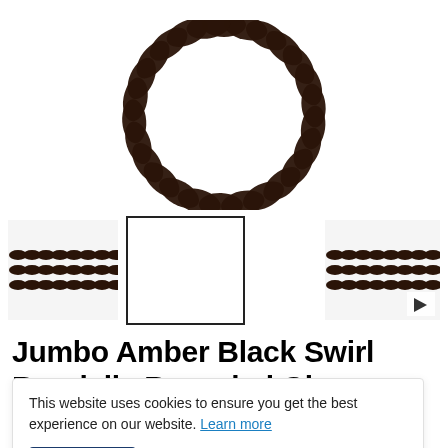[Figure (photo): Product photo of dark brown/black recycled glass rondelle beads arranged in a circular strand, viewed from above on white background.]
[Figure (photo): Thumbnail gallery row showing three thumbnails of the rondelle glass beads product. Second thumbnail is selected (outlined). Third thumbnail has a video play button overlay.]
Jumbo Amber Black Swirl Rondelle Recycled Glass Beads
This website uses cookies to ensure you get the best experience on our website. Learn more
Accept